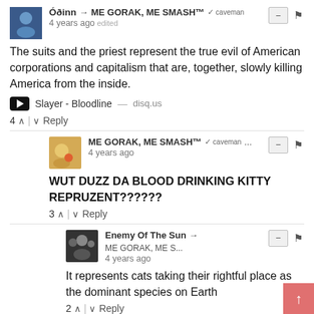Óðinn → ME GORAK, ME SMASH™ ✓ caveman | 4 years ago edited
The suits and the priest represent the true evil of American corporations and capitalism that are, together, slowly killing America from the inside.
▶ Slayer - Bloodline — disq.us
4 ∧ | ∨ Reply
ME GORAK, ME SMASH™ ✓ caveman ... | 4 years ago
WUT DUZZ DA BLOOD DRINKING KITTY REPRUZENT??????
3 ∧ | ∨ Reply
Enemy Of The Sun → ME GORAK, ME S... | 4 years ago
It represents cats taking their rightful place as the dominant species on Earth
2 ∧ | ∨ Reply
Enemy Of The Sun → Guest